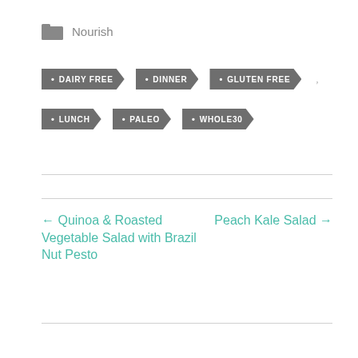Nourish
DAIRY FREE
DINNER
GLUTEN FREE
LUNCH
PALEO
WHOLE30
← Quinoa & Roasted Vegetable Salad with Brazil Nut Pesto
Peach Kale Salad →